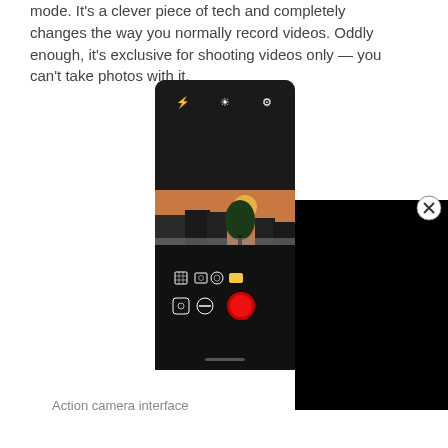mode. It's a clever piece of tech and completely changes the way you normally record videos. Oddly enough, it's exclusive for shooting videos only — you can't take photos with it.
[Figure (screenshot): Action camera interface shown on a smartphone screen. The phone displays a camera viewfinder with a dark top and bottom section, a middle strip showing an outdoor sunset/dusk scene with buildings and trees, and camera controls at the bottom including a red record button, camera flip icons, and mode selector icons. Three icons appear at the top of the interface. A black panel extends to the right of the phone, with an X close button in the upper right corner.]
Action camera interface